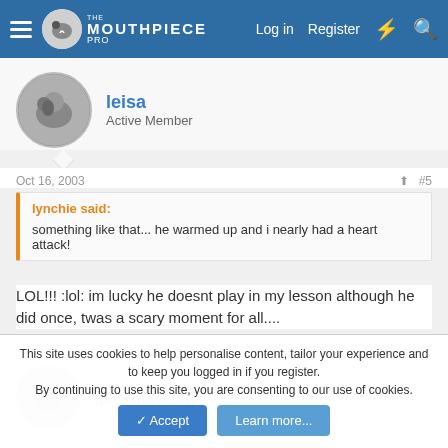The Mouthpiece — Log in  Register
leisa
Active Member
Oct 16, 2003  #5
lynchie said:
something like that... he warmed up and i nearly had a heart attack!
LOL!!! :lol: im lucky he doesnt play in my lesson although he did once, twas a scary moment for all....
geordiecolin
This site uses cookies to help personalise content, tailor your experience and to keep you logged in if you register.
By continuing to use this site, you are consenting to our use of cookies.